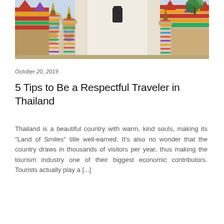[Figure (photo): Photograph of Thai temple complex (Wat Pho or similar) featuring ornate white stupas/chedis decorated with colorful ceramic tiles and traditional Thai architectural details, with colorful roof structures visible in the background.]
October 20, 2019
5 Tips to Be a Respectful Traveler in Thailand
Thailand is a beautiful country with warm, kind souls, making its “Land of Smiles” title well-earned. It’s also no wonder that the country draws in thousands of visitors per year, thus making the tourism industry one of their biggest economic contributors. Tourists actually play a […]